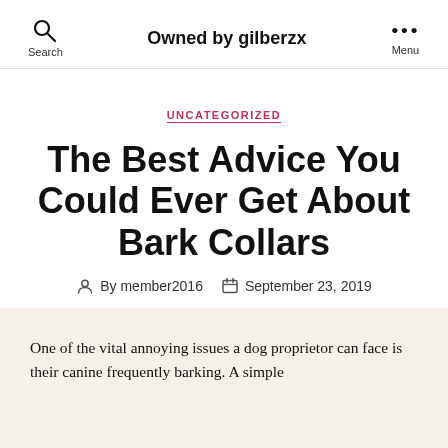Owned by gilberzx
UNCATEGORIZED
The Best Advice You Could Ever Get About Bark Collars
By member2016   September 23, 2019
One of the vital annoying issues a dog proprietor can face is their canine frequently barking. A simple